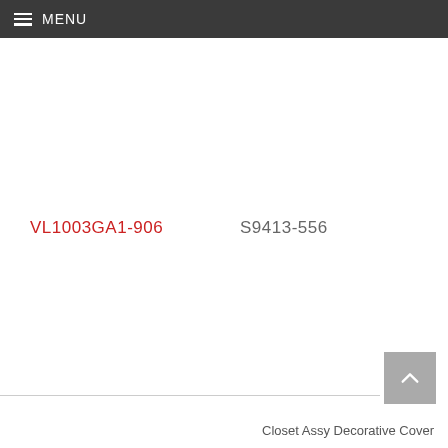MENU
VL1003GA1-906
S9413-556
Closet Assy Decorative Cover